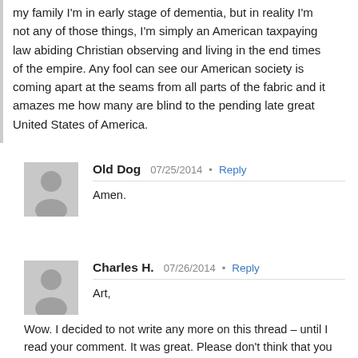my family I'm in early stage of dementia, but in reality I'm not any of those things, I'm simply an American taxpaying law abiding Christian observing and living in the end times of the empire. Any fool can see our American society is coming apart at the seams from all parts of the fabric and it amazes me how many are blind to the pending late great United States of America.
Old Dog  07/25/2014 • Reply
Amen.
Charles H.  07/26/2014 • Reply
Art,
Wow. I decided to not write any more on this thread – until I read your comment. It was great. Please don't think that you are alone by any means.